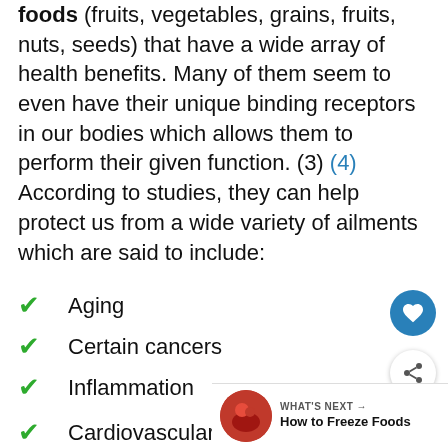foods (fruits, vegetables, grains, fruits, nuts, seeds) that have a wide array of health benefits. Many of them seem to even have their unique binding receptors in our bodies which allows them to perform their given function. (3) (4) According to studies, they can help protect us from a wide variety of ailments which are said to include:
Aging
Certain cancers
Inflammation
Cardiovascular Disease (CVD)